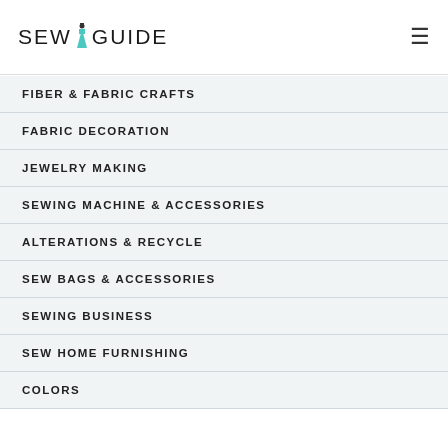SEW GUIDE
FIBER & FABRIC CRAFTS
FABRIC DECORATION
JEWELRY MAKING
SEWING MACHINE & ACCESSORIES
ALTERATIONS & RECYCLE
SEW BAGS & ACCESSORIES
SEWING BUSINESS
SEW HOME FURNISHING
COLORS